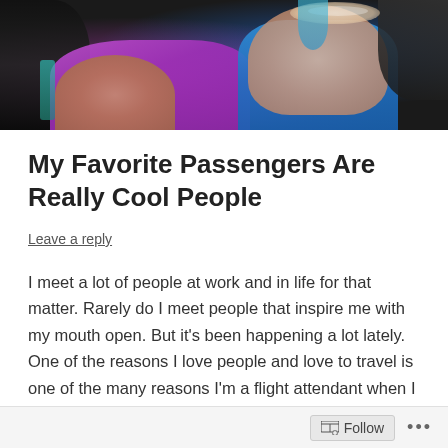[Figure (photo): Close-up photo of two people smiling together; one wearing a purple/magenta top and one wearing a blue top, with dark hair visible]
My Favorite Passengers Are Really Cool People
Leave a reply
I meet a lot of people at work and in life for that matter. Rarely do I meet people that inspire me with my mouth open. But it's been happening a lot lately. One of the reasons I love people and love to travel is one of the many reasons I'm a flight attendant when I don't have my mom hat on.
Follow ...